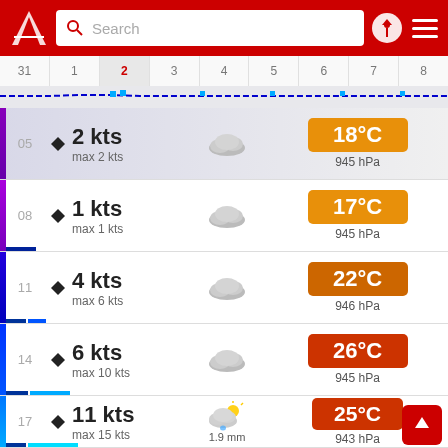[Figure (screenshot): App header with red background, logo, search box, and icons]
| 31 | 1 | 2 | 3 | 4 | 5 | 6 | 7 | 8 |
| --- | --- | --- | --- | --- | --- | --- | --- | --- |
05 | 2 kts | max 2 kts | 18°C | 945 hPa
08 | 1 kts | max 1 kts | 17°C | 945 hPa
11 | 4 kts | max 6 kts | 22°C | 946 hPa
14 | 6 kts | max 10 kts | 26°C | 945 hPa
17 | 11 kts | max 15 kts | 1.9 mm | 25°C | 943 hPa